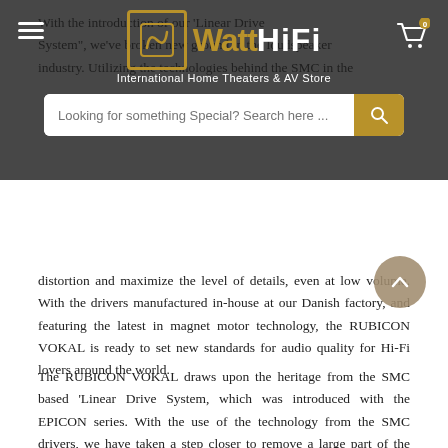Watt HiFi — International Home Theaters & AV Store
With the introduction of our 'Linear Drive System', we've broken new ground in the loudspeaker industry. Utilizing the technologies behind the SMC in the distortion and maximize the level of details, even at low volume. With the drivers manufactured in-house at our Danish factory, and featuring the latest in magnet motor technology, the RUBICON VOKAL is ready to set new standards for audio quality for Hi-Fi lovers around the world.
The RUBICON VOKAL draws upon the heritage from the SMC based 'Linear Drive System, which was introduced with the EPICON series. With the use of the technology from the SMC drivers, we have taken a step closer to remove a large part of the unwanted distortion. The bass drivers are optimized for long excursion, and the midrange driver for a large useful frequency range insuring that the roll-off is handled in the crossover and not in the driver. All this ensures